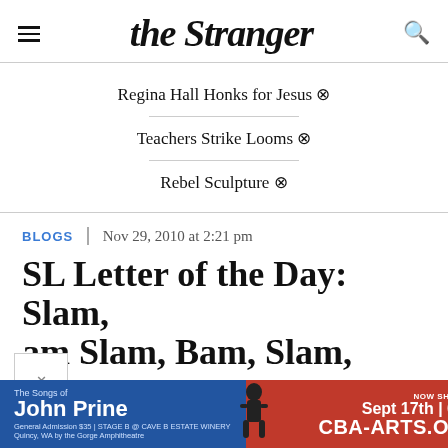the Stranger
Regina Hall Honks for Jesus ⊠
Teachers Strike Looms ⊠
Rebel Sculpture ⊠
BLOGS | Nov 29, 2010 at 2:21 pm
SL Letter of the Day: Slam, am Slam, Bam, Slam, Bam
[Figure (other): Advertisement banner for 'The Songs of John Prine' at Cave B Estate Winery, Sept 17th 6pm, CBA-ARTS.ORG]